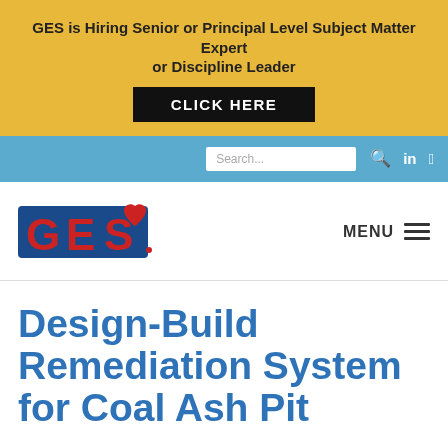GES is Hiring Senior or Principal Level Subject Matter Expert or Discipline Leader
CLICK HERE
[Figure (screenshot): Blue navigation bar with search box and social media icons (LinkedIn, Twitter)]
[Figure (logo): GES logo with red and blue letters and heart shape]
MENU
Design-Build Remediation System for Coal Ash Pit